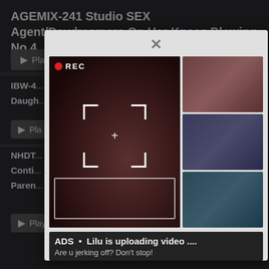AGEMIX-241 Studio SEX Agent/Daydreamers On Her Knees Blowing No.4
Play trailer    1001
IBW-4... Conti... Daugh...   Of The
Pla...   1003
NHDT... Get Conti... Parem...
Play trailer   1002
[Figure (screenshot): Modal popup showing adult video thumbnail with REC overlay, viewfinder frame, red record dot, and three smaller thumbnails on the right side]
ADS  •  Lilu is uploading video ....
Are u jerking off? Don't stop!